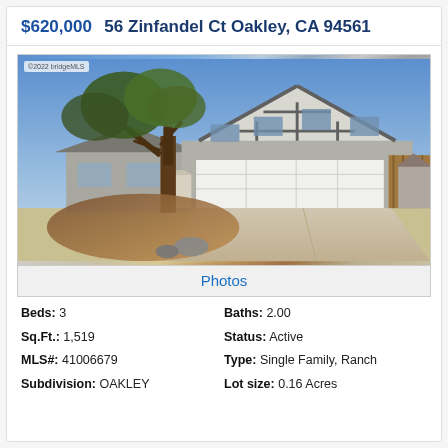$620,000  56 Zinfandel Ct Oakley, CA 94561
[Figure (photo): Exterior photo of a single-family ranch-style home at 56 Zinfandel Ct Oakley CA. Grey siding, white trim, A-frame gable over garage, large two-car white garage door, concrete driveway, mature tree in foreground with mulch landscaping, blue sky background. Watermark: ©2022 bridgeMLS]
Photos
Beds: 3
Baths: 2.00
Sq.Ft.: 1,519
Status: Active
MLS#: 41006679
Type: Single Family, Ranch
Subdivision: OAKLEY
Lot size: 0.16 Acres